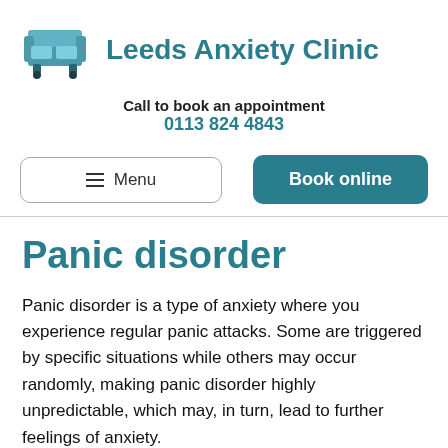Leeds Anxiety Clinic
Call to book an appointment
0113 824 4843
Menu   Book online
Panic disorder
Panic disorder is a type of anxiety where you experience regular panic attacks. Some are triggered by specific situations while others may occur randomly, making panic disorder highly unpredictable, which may, in turn, lead to further feelings of anxiety.